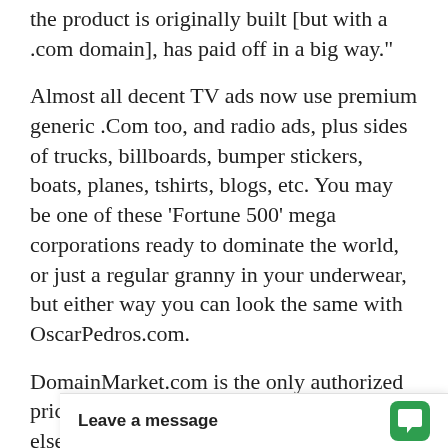the product is originally built [but with a .com domain], has paid off in a big way."
Almost all decent TV ads now use premium generic .Com too, and radio ads, plus sides of trucks, billboards, bumper stickers, boats, planes, tshirts, blogs, etc. You may be one of these 'Fortune 500' mega corporations ready to dominate the world, or just a regular granny in your underwear, but either way you can look the same with OscarPedros.com.
DomainMarket.com is the only authorized pricing agent for this domain name, anyone else is a third party seller. Every domain price on this site is completed by top world experts from AccurateAppraisals.com.
It's critical to secure your domain today if you want to control the world clas...